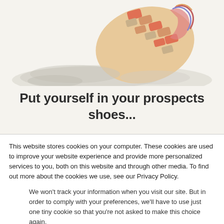[Figure (photo): Close-up photo of a colorful trail running shoe sole with orange, pink and multicolored accents, shown from below against a light rocky/sandy background.]
Put yourself in your prospects shoes...
This website stores cookies on your computer. These cookies are used to improve your website experience and provide more personalized services to you, both on this website and through other media. To find out more about the cookies we use, see our Privacy Policy.
We won't track your information when you visit our site. But in order to comply with your preferences, we'll have to use just one tiny cookie so that you're not asked to make this choice again.
Accept
Decline